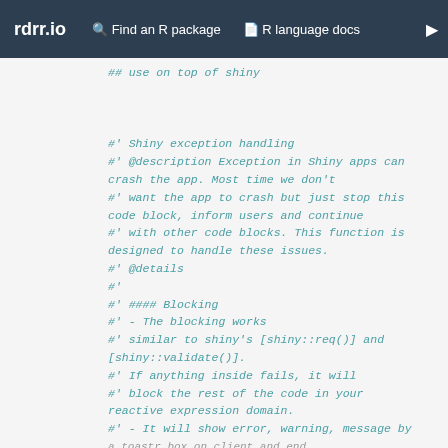rdrr.io   Find an R package   R language docs
## use on top of shiny

#' Shiny exception handling
#' @description Exception in Shiny apps can crash the app. Most time we don't
#' want the app to crash but just stop this code block, inform users and continue
#' with other code blocks. This function is designed to handle these issues.
#' @details
#'
#' #### Blocking
#' - The blocking works
#' similar to shiny's [shiny::req()] and [shiny::validate()].
#' If anything inside fails, it will
#' block the rest of the code in your reactive expression domain.
#' - It will show error, warning, message by